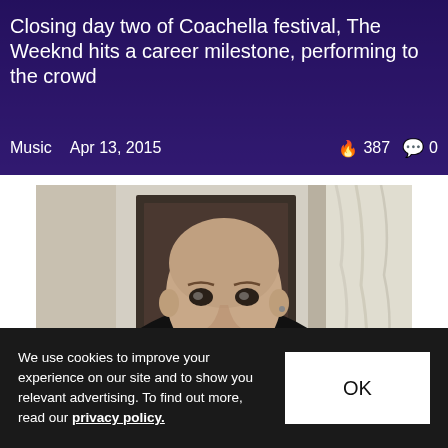Closing day two of Coachella festival, The Weeknd hits a career milestone, performing to the crowd
Music   Apr 13, 2015   387   0
[Figure (photo): Young man with shaved head wearing a black t-shirt that reads 'I Love You' with a graphic, standing in front of a mirror in an indoor setting]
We use cookies to improve your experience on our site and to show you relevant advertising. To find out more, read our privacy policy.